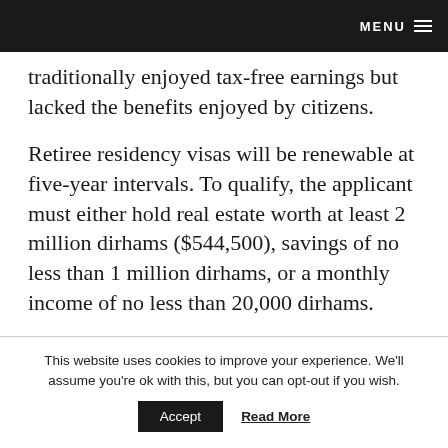MENU
traditionally enjoyed tax-free earnings but lacked the benefits enjoyed by citizens.
Retiree residency visas will be renewable at five-year intervals. To qualify, the applicant must either hold real estate worth at least 2 million dirhams ($544,500), savings of no less than 1 million dirhams, or a monthly income of no less than 20,000 dirhams.
This website uses cookies to improve your experience. We'll assume you're ok with this, but you can opt-out if you wish.
Accept
Read More